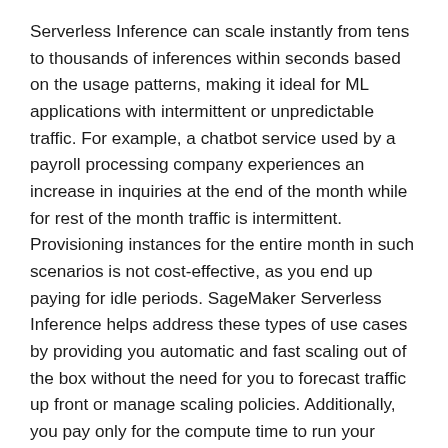Serverless Inference can scale instantly from tens to thousands of inferences within seconds based on the usage patterns, making it ideal for ML applications with intermittent or unpredictable traffic. For example, a chatbot service used by a payroll processing company experiences an increase in inquiries at the end of the month while for rest of the month traffic is intermittent. Provisioning instances for the entire month in such scenarios is not cost-effective, as you end up paying for idle periods. SageMaker Serverless Inference helps address these types of use cases by providing you automatic and fast scaling out of the box without the need for you to forecast traffic up front or manage scaling policies. Additionally, you pay only for the compute time to run your inference code (billed in milliseconds) and for data processing, making it a cost-effective option for workloads with intermittent traffic.
Q: What is Amazon SageMaker Inference